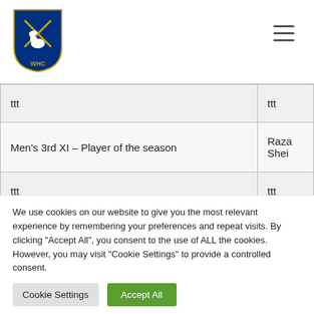Navigation header with club logo and hamburger menu
| ttt | ttt |
| Men's 3rd XI – Player of the season | Raza Shei… |
| ttt | ttt |
| ttt | ttt |
We use cookies on our website to give you the most relevant experience by remembering your preferences and repeat visits. By clicking "Accept All", you consent to the use of ALL the cookies. However, you may visit "Cookie Settings" to provide a controlled consent.
Cookie Settings | Accept All